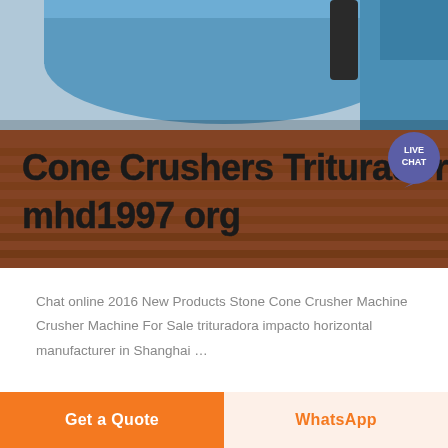[Figure (photo): Industrial machinery (cone crusher / ball mill) photo with blue cylindrical equipment and wooden boards visible. Text overlay reads 'Cone Crushers Trituradora mhd1997 org' in bold dark font. A live chat speech bubble icon is in the upper right corner.]
Chat online 2016 New Products Stone Cone Crusher Machine Crusher Machine For Sale trituradora impacto horizontal manufacturer in Shanghai …
Get a Quote
WhatsApp